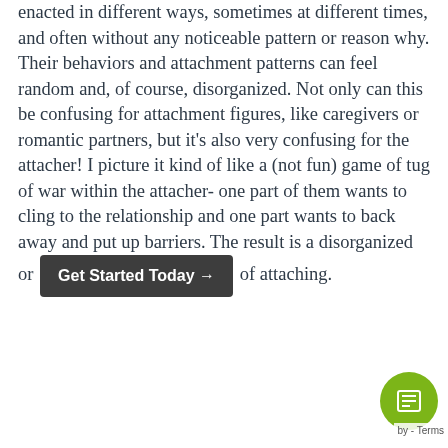enacted in different ways, sometimes at different times, and often without any noticeable pattern or reason why. Their behaviors and attachment patterns can feel random and, of course, disorganized. Not only can this be confusing for attachment figures, like caregivers or romantic partners, but it's also very confusing for the attacher! I picture it kind of like a (not fun) game of tug of war within the attacher- one part of them wants to cling to the relationship and one part wants to back away and put up barriers. The result is a disorganized or [Get Started Today →] of attaching.